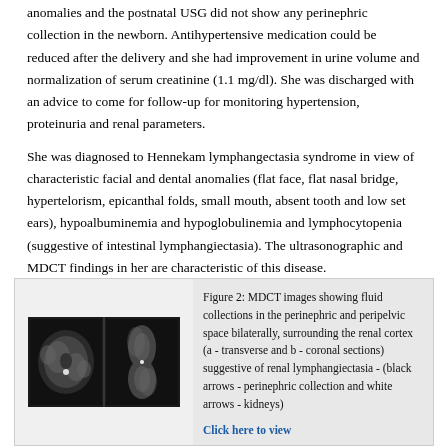anomalies and the postnatal USG did not show any perinephric collection in the newborn. Antihypertensive medication could be reduced after the delivery and she had improvement in urine volume and normalization of serum creatinine (1.1 mg/dl). She was discharged with an advice to come for follow-up for monitoring hypertension, proteinuria and renal parameters.
She was diagnosed to Hennekam lymphangectasia syndrome in view of characteristic facial and dental anomalies (flat face, flat nasal bridge, hypertelorism, epicanthal folds, small mouth, absent tooth and low set ears), hypoalbuminemia and hypoglobulinemia and lymphocytopenia (suggestive of intestinal lymphangiectasia). The ultrasonographic and MDCT findings in her are characteristic of this disease.
[Figure (photo): MDCT images showing fluid collections in the perinephric and peripelvic space bilaterally, surrounding the renal cortex (a - transverse and b - coronal sections). Two side-by-side grayscale CT scan images.]
Figure 2: MDCT images showing fluid collections in the perinephric and peripelvic space bilaterally, surrounding the renal cortex (a - transverse and b - coronal sections) suggestive of renal lymphangiectasia - (black arrows - perinephric collection and white arrows - kidneys)